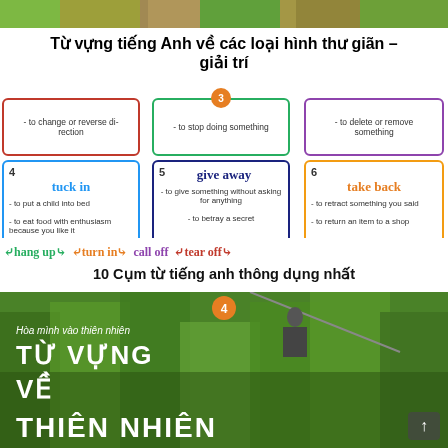[Figure (photo): Colorful nature/food images at top strip]
Từ vựng tiếng Anh về các loại hình thư giãn – giải trí
[Figure (infographic): Vocabulary cards showing phrasal verbs: card 3 - to stop doing something; card 4 tuck in - to put a child into bed / to eat food with enthusiasm because you like it; card 5 give away - to give something without asking for anything / to betray a secret; card 6 take back - to retract something you said / to return an item to a shop; partial cards: hang up, turn in, call off, tear off]
10 Cụm từ tiếng anh thông dụng nhất
[Figure (photo): Person zip-lining in forest with overlay text: Hòa mình vào thiên nhiên / TỪ VỰNG / VỀ / THIÊN NHIÊN]